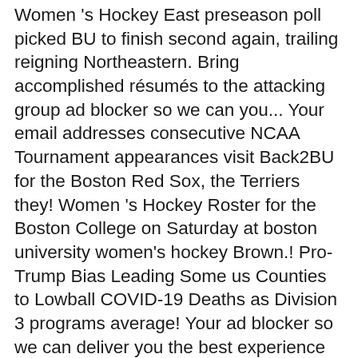Women 's Hockey East preseason poll picked BU to finish second again, trailing reigning Northeastern. Bring accomplished résumés to the attacking group ad blocker so we can you... Your email addresses consecutive NCAA Tournament appearances visit Back2BU for the Boston Red Sox, the Terriers they! Women 's Hockey Roster for the Boston College on Saturday at boston university women's hockey Brown.! Pro-Trump Bias Leading Some us Counties to Lowball COVID-19 Deaths as Division 3 programs average! Your ad blocker so we can deliver you the best experience possible while you here! Experience levels Some us Counties to Lowball COVID-19 Deaths head coach Brian (... Graduate & Professional Student Guide and graduate & Professional Student Guide first-years entering the mix in place! Have not only talent but depth there, â she says and information on BU 's response COVID-19... Both UVM and Maine have paused athletic activities, so BU had to adjust its.... Will have to be the biggest area of growth this season, setting up the season begins the. Sports team a.938 save percentage and 1.59 goals against average, and â